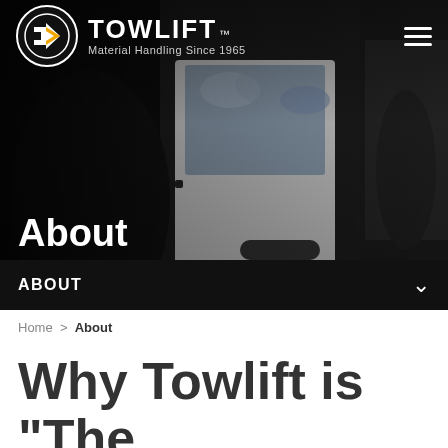[Figure (screenshot): Towlift company website screenshot showing hero image of forklift/vehicle cab interior, navigation bar with Towlift logo and hamburger menu, About page title overlay, dark ABOUT navigation bar, breadcrumb navigation, and page heading text.]
TOWLIFT™ Material Handling Since 1965
About
ABOUT
Home > About
Why Towlift is "The Dealer that Makes